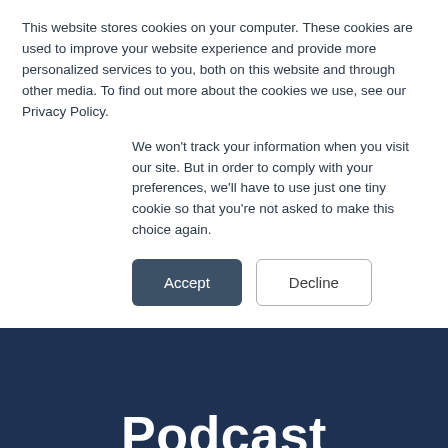This website stores cookies on your computer. These cookies are used to improve your website experience and provide more personalized services to you, both on this website and through other media. To find out more about the cookies we use, see our Privacy Policy.
We won't track your information when you visit our site. But in order to comply with your preferences, we'll have to use just one tiny cookie so that you're not asked to make this choice again.
Accept | Decline
Podcast